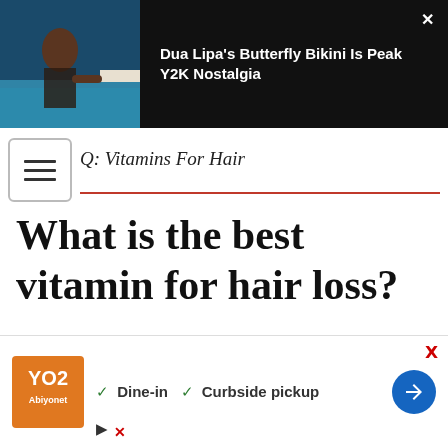[Figure (screenshot): Advertisement banner: photo of woman in pool on left, dark background, text 'Dua Lipa's Butterfly Bikini Is Peak Y2K Nostalgia' on right, close X button top right]
Q: Vitamins For Hair
What is the best vitamin for hair loss?
Biotin, or a B vitamin, is one of the most well-known vitamins ... research ... 1993,
[Figure (screenshot): Bottom overlay advertisement: orange logo with YO2 branding, checkmarks for Dine-in and Curbside pickup, blue circular arrow button, close/play/X icons]